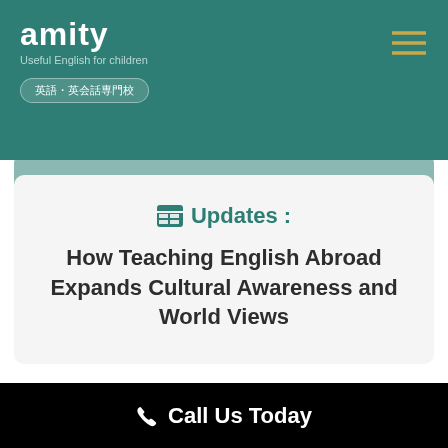amity
Useful English for children
英語・英会話専門校
Updates : How Teaching English Abroad Expands Cultural Awareness and World Views
Call Us Today